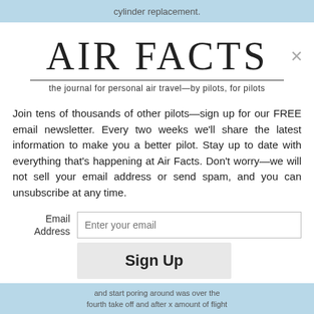cylinder replacement.
AIR FACTS
the journal for personal air travel—by pilots, for pilots
Join tens of thousands of other pilots—sign up for our FREE email newsletter. Every two weeks we'll share the latest information to make you a better pilot. Stay up to date with everything that's happening at Air Facts. Don't worry—we will not sell your email address or send spam, and you can unsubscribe at any time.
Email Address [input: Enter your email] Sign Up
and start poring around was over the fourth take off and after x amount of flight